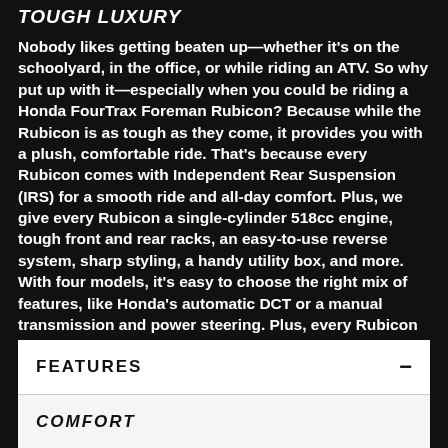TOUGH LUXURY
Nobody likes getting beaten up—whether it's on the schoolyard, in the office, or while riding an ATV. So why put up with it—especially when you could be riding a Honda FourTrax Foreman Rubicon? Because while the Rubicon is as tough as they come, it provides you with a plush, comfortable ride. That's because every Rubicon comes with Independent Rear Suspension (IRS) for a smooth ride and all-day comfort. Plus, we give every Rubicon a single-cylinder 518cc engine, tough front and rear racks, an easy-to-use reverse system, sharp styling, a handy utility box, and more. With four models, it's easy to choose the right mix of features, like Honda's automatic DCT or a manual transmission and power steering. Plus, every Rubicon offers Honda's famous durability, reliability, and overall quality—a winning combination that sets them apart.
FEATURES
COMFORT